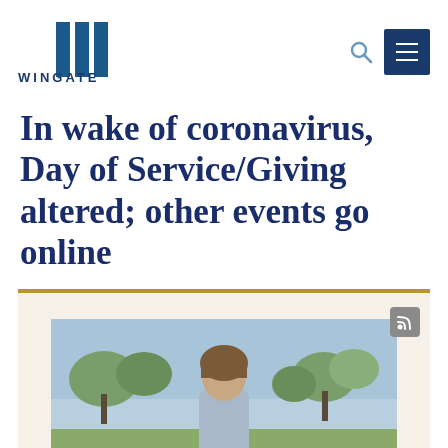[Figure (logo): Wingate University logo with three vertical blue rectangles and WINGATE text]
In wake of coronavirus, Day of Service/Giving altered; other events go online
[Figure (photo): Person standing outdoors with trees in background, article featured image]